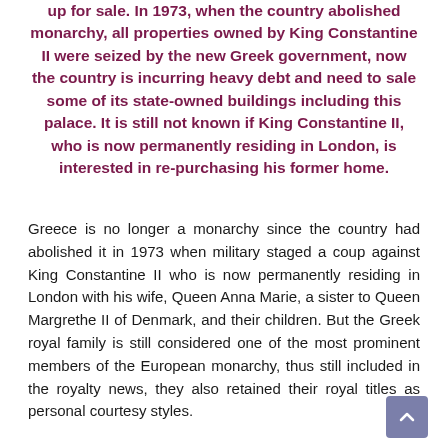up for sale. In 1973, when the country abolished monarchy, all properties owned by King Constantine II were seized by the new Greek government, now the country is incurring heavy debt and need to sale some of its state-owned buildings including this palace. It is still not known if King Constantine II, who is now permanently residing in London, is interested in re-purchasing his former home.
Greece is no longer a monarchy since the country had abolished it in 1973 when military staged a coup against King Constantine II who is now permanently residing in London with his wife, Queen Anna Marie, a sister to Queen Margrethe II of Denmark, and their children. But the Greek royal family is still considered one of the most prominent members of the European monarchy, thus still included in the royalty news, they also retained their royal titles as personal courtesy styles.